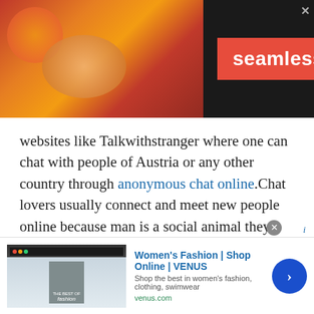[Figure (screenshot): Seamless food delivery advertisement banner with pizza image, red Seamless logo, and ORDER NOW button on dark background]
websites like Talkwithstranger where one can chat with people of Austria or any other country through anonymous chat online.Chat lovers usually connect and meet new people online because man is a social animal they love to chat with people of Austria. A person must socialize to prosper in the world. This social network helps a person to live their life joyfully.
Chat with people of Austria on
[Figure (screenshot): Women's Fashion | Shop Online | VENUS advertisement with fashion image, title, subtitle, venus.com URL, and blue arrow CTA button]